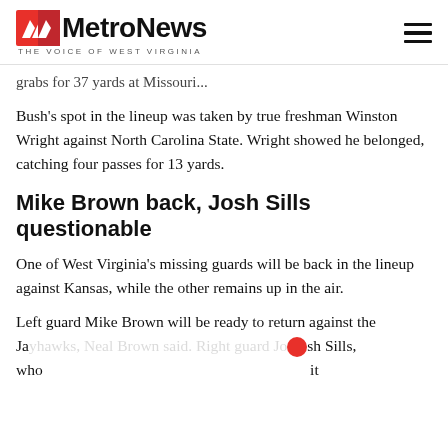MetroNews THE VOICE OF WEST VIRGINIA
grabs for 37 yards at Missouri...
Bush's spot in the lineup was taken by true freshman Winston Wright against North Carolina State. Wright showed he belonged, catching four passes for 13 yards.
Mike Brown back, Josh Sills questionable
One of West Virginia's missing guards will be back in the lineup against Kansas, while the other remains up in the air.
Left guard Mike Brown will be ready to return against the Jayhawks, Neal Brown said. Right guard Josh Sills, who [obscured] it [obscured]